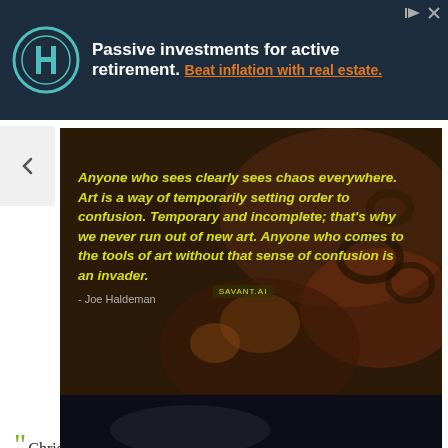[Figure (screenshot): Advertisement banner with dark navy background, circular logo with 'H' letter, white and orange text about passive investments for retirement and real estate]
Passive investments for active retirement. Beat inflation with real estate.
[Figure (photo): Dark macro photo of nuts/seeds with yellow italic quote text overlay: 'Anyone who sees clearly sees chaos everywhere. Art is a way of temporarily setting order to confusion. Temporary and incomplete; that's why we never run out of new art. Anyone who comes to the tools of art without that sense of confusion is an invader.' - Joe Haldeman]
Anyone who sees clearly sees chaos everywhere. Art is a way of temporarily setting order to confusion. Temporary and incomplete; that's why we never run out of new art. Anyone who comes to the tools of art without that sense of confusion is an invader.
- Joe Haldeman
“Christ and Buddha,   ” — Joe Haldeman
[Figure (photo): Dark photo partially visible at bottom of page]